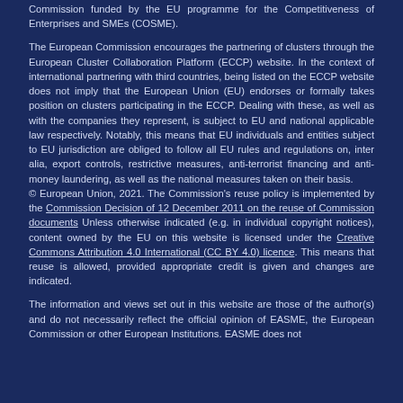Commission funded by the EU programme for the Competitiveness of Enterprises and SMEs (COSME).
The European Commission encourages the partnering of clusters through the European Cluster Collaboration Platform (ECCP) website. In the context of international partnering with third countries, being listed on the ECCP website does not imply that the European Union (EU) endorses or formally takes position on clusters participating in the ECCP. Dealing with these, as well as with the companies they represent, is subject to EU and national applicable law respectively. Notably, this means that EU individuals and entities subject to EU jurisdiction are obliged to follow all EU rules and regulations on, inter alia, export controls, restrictive measures, anti-terrorist financing and anti-money laundering, as well as the national measures taken on their basis.
© European Union, 2021. The Commission's reuse policy is implemented by the Commission Decision of 12 December 2011 on the reuse of Commission documents Unless otherwise indicated (e.g. in individual copyright notices), content owned by the EU on this website is licensed under the Creative Commons Attribution 4.0 International (CC BY 4.0) licence. This means that reuse is allowed, provided appropriate credit is given and changes are indicated.
The information and views set out in this website are those of the author(s) and do not necessarily reflect the official opinion of EASME, the European Commission or other European Institutions. EASME does not